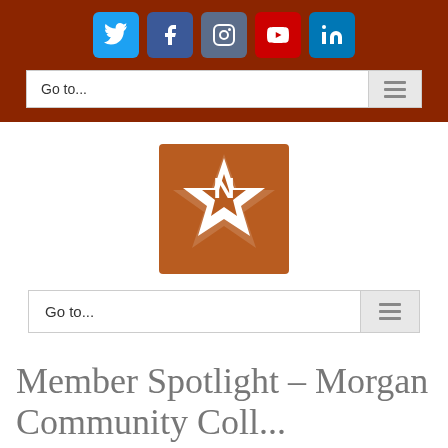Social media navigation bar with Twitter, Facebook, Instagram, YouTube, LinkedIn icons and Go to... menu
[Figure (logo): Northwestern State University logo — burnt orange square with white star and letter N overlaid]
Go to...
Member Spotlight – Morgan Community Coll...